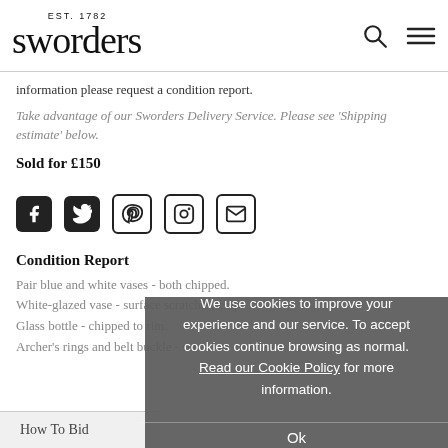EST. 1782 sworders
information please request a condition report.
Take advantage of our Sworders Delivery Service. Please see ‘Shipping estimate’ below.
Sold for £150
[Figure (infographic): Social media share icons: Facebook, Twitter, Pinterest, Instagram, Email]
Condition Report
Pair blue and white vases - both chipped.
White-glazed vase - surface scratches, chip.
Glass bottle - chipped to rim.
Archer's rings and belt buckle - scratches and dents.
We use cookies to improve your experience and our service. To accept cookies continue browsing as normal. Read our Cookie Policy for more information.
Ok
How To Bid